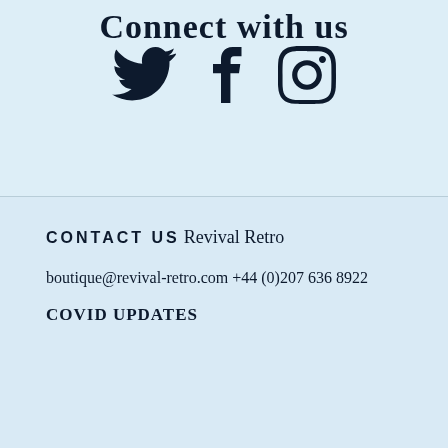Connect with us
[Figure (illustration): Three social media icons: Twitter bird, Facebook f, Instagram camera, displayed horizontally in black on light blue background]
CONTACT US
Revival Retro
boutique@revival-retro.com
+44 (0)207 636 8922
COVID UPDATES